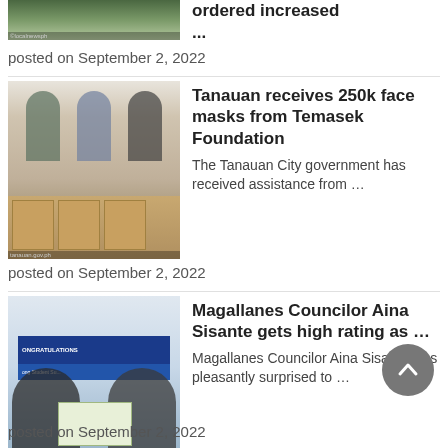[Figure (photo): Partial top image of outdoor scene]
... ordered increased ...
posted on September 2, 2022
[Figure (photo): Three people exchanging boxes/packages at a ceremony]
Tanauan receives 250k face masks from Temasek Foundation
The Tanauan City government has received assistance from ...
posted on September 2, 2022
[Figure (photo): Two women holding a certificate in front of a congratulations banner]
Magallanes Councilor Aina Sisante gets high rating as ...
Magallanes Councilor Aina Sisante was pleasantly surprised to ...
posted on September 2, 2022